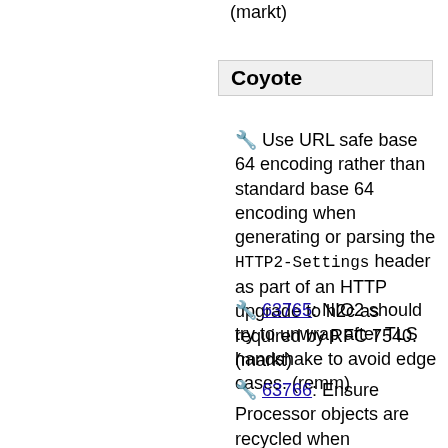(markt)
Coyote
🔧 Use URL safe base 64 encoding rather than standard base 64 encoding when generating or parsing the HTTP2-Settings header as part of an HTTP upgrade to h2c as required by RFC 7540. (markt)
🔧 63765: NIO2 should try to unwrap after TLS handshake to avoid edge cases. (remm)
🔧 63766: Ensure Processor objects are recycled when processing an HTTP upgrade connection that terminates